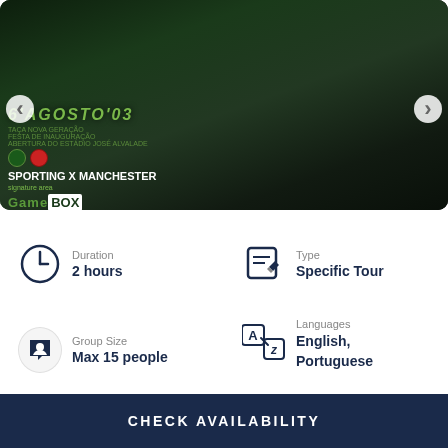[Figure (photo): Image carousel showing three photos: left panel shows a store display with 'SPORTING X MANCHESTER' signage and GameBox branding with green text on dark background; middle panel shows a Sporting CP jersey with 'BANCO ESPIRITO SANTO' sponsor and 'C. RONALDO 28' on display; right panel shows football player figurines/statues in Sporting CP green and white kit alongside a player in red kit.]
Duration
2 hours
Type
Specific Tour
Group Size
Max 15 people
Languages
English, Portuguese
CHECK AVAILABILITY